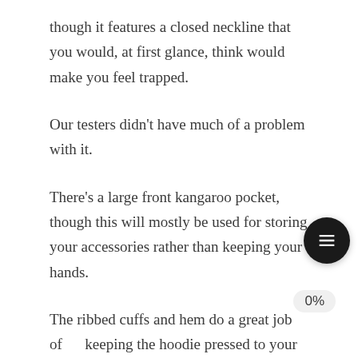though it features a closed neckline that you would, at first glance, think would make you feel trapped.
Our testers didn't have much of a problem with it.
There's a large front kangaroo pocket, though this will mostly be used for storing your accessories rather than keeping your hands.
The ribbed cuffs and hem do a great job of keeping the hoodie pressed to your body instead of getting in the way during exercises.